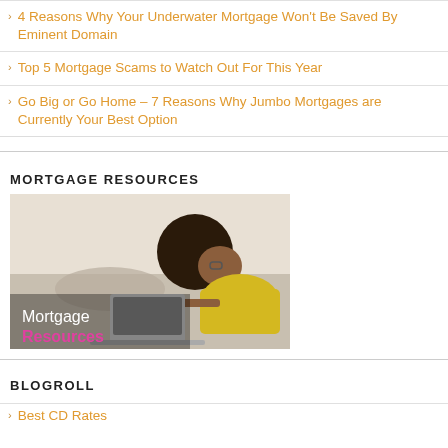4 Reasons Why Your Underwater Mortgage Won't Be Saved By Eminent Domain
Top 5 Mortgage Scams to Watch Out For This Year
Go Big or Go Home – 7 Reasons Why Jumbo Mortgages are Currently Your Best Option
MORTGAGE RESOURCES
[Figure (photo): Woman in yellow shirt lying on bed looking at laptop, with text overlay 'Mortgage Resources']
BLOGROLL
Best CD Rates